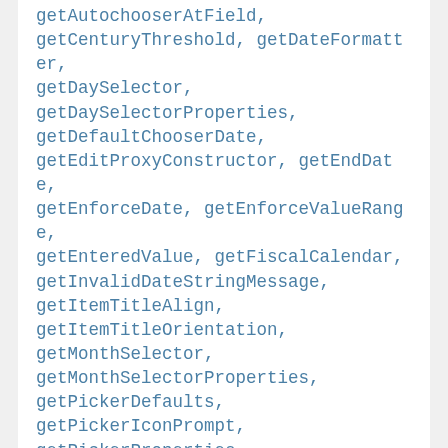getAutochooserAtField, getCenturyThreshold, getDateFormatter, getDaySelector, getDaySelectorProperties, getDefaultChooserDate, getEditProxyConstructor, getEndDate, getEnforceDate, getEnforceValueRange, getEnteredValue, getFiscalCalendar, getInvalidDateStringMessage, getItemTitleAlign, getItemTitleOrientation, getMonthSelector, getMonthSelectorProperties, getPickerDefaults, getPickerIconPrompt, getPickerProperties, getPickerTimeItemProperties, getSelectionRange, getSelectorFormat, getShowChooserFiscalYearPicker, getShowChooserWeekPicker, getShowHintInField, getShowItemTitles,